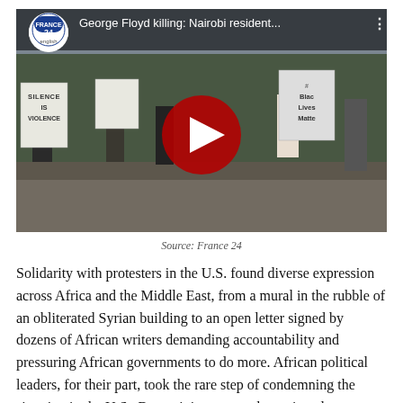[Figure (screenshot): YouTube video thumbnail showing protesters in Nairobi holding signs including 'Silence is Violence' and '#BlackLivesMatter', with a red YouTube play button overlay. Video title: 'George Floyd killing: Nairobi resident...' with France 24 English channel logo.]
Source: France 24
Solidarity with protesters in the U.S. found diverse expression across Africa and the Middle East, from a mural in the rubble of an obliterated Syrian building to an open letter signed by dozens of African writers demanding accountability and pressuring African governments to do more. African political leaders, for their part, took the rare step of condemning the situation in the U.S.. But activists across the region also